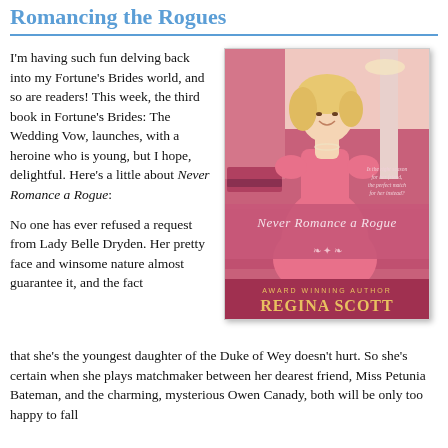Romancing the Rogues
I'm having such fun delving back into my Fortune's Brides world, and so are readers! This week, the third book in Fortune's Brides: The Wedding Vow, launches, with a heroine who is young, but I hope, delightful. Here's a little about Never Romance a Rogue:
[Figure (illustration): Book cover for 'Never Romance a Rogue' by Regina Scott. Shows a smiling young woman in a pink ballgown standing in an ornate pink-walled ballroom. The title 'Never Romance a Rogue' is displayed in elegant script across the lower half of the cover, with 'Award Winning Author Regina Scott' at the bottom.]
No one has ever refused a request from Lady Belle Dryden. Her pretty face and winsome nature almost guarantee it, and the fact that she's the youngest daughter of the Duke of Wey doesn't hurt. So she's certain when she plays matchmaker between her dearest friend, Miss Petunia Bateman, and the charming, mysterious Owen Canady, both will be only too happy to fall